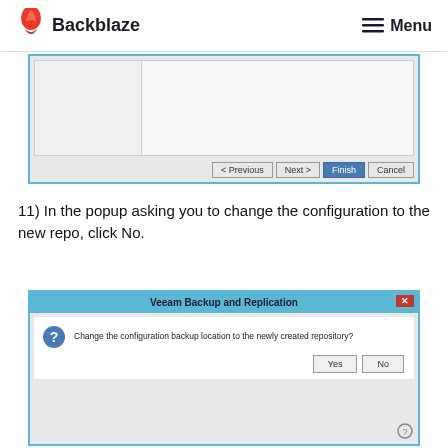Backblaze — Menu
[Figure (screenshot): Bottom portion of a wizard dialog showing left navigation panel and main content area, with Previous, Next, Finish, and Cancel buttons at the bottom]
11) In the popup asking you to change the configuration to the new repo, click No.
[Figure (screenshot): Veeam Backup and Replication dialog asking 'Change the configuration backup location to the newly created repository?' with Yes and No buttons]